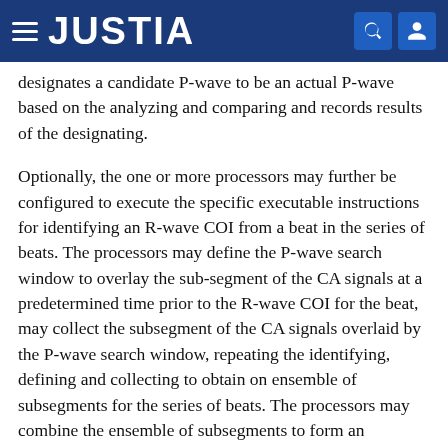JUSTIA
designates a candidate P-wave to be an actual P-wave based on the analyzing and comparing and records results of the designating.
Optionally, the one or more processors may further be configured to execute the specific executable instructions for identifying an R-wave COI from a beat in the series of beats. The processors may define the P-wave search window to overlay the sub-segment of the CA signals at a predetermined time prior to the R-wave COI for the beat, may collect the subsegment of the CA signals overlaid by the P-wave search window, repeating the identifying, defining and collecting to obtain on ensemble of subsegments for the series of beats. The processors may combine the ensemble of subsegments to form an ensemble average of the CA signals within the P-wave search window for the series of beats and